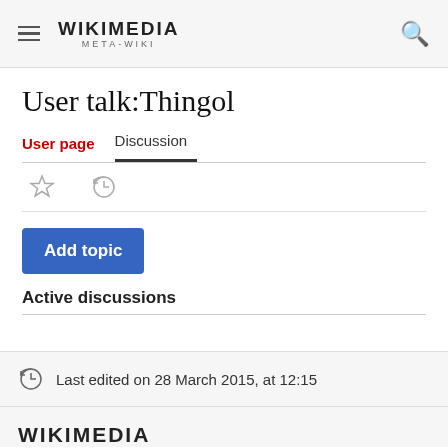WIKIMEDIA META-WIKI
User talk:Thingol
User page | Discussion
Add topic
Active discussions
Last edited on 28 March 2015, at 12:15
WIKIMEDIA